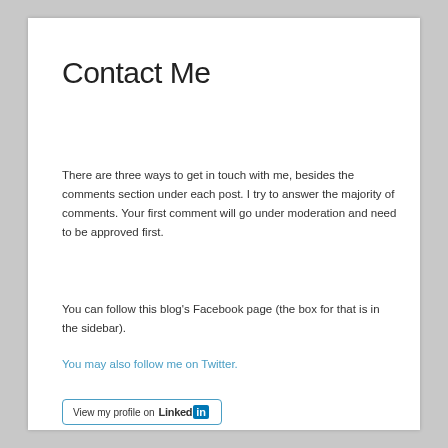Contact Me
There are three ways to get in touch with me, besides the comments section under each post.  I try to answer the majority of comments.   Your first comment will go under moderation and need to be approved first.
You can follow this blog's Facebook page (the box for that is in the sidebar).
You may also follow me on Twitter.
[Figure (other): LinkedIn profile button: 'View my profile on Linked in' with LinkedIn logo badge]